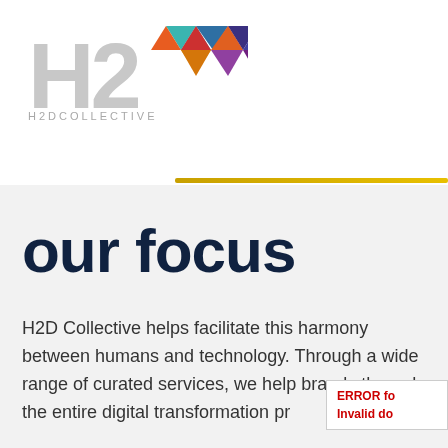[Figure (logo): H2D Collective logo: large grey 'H2' letters with a colorful geometric arrow/chevron made of triangles in teal, blue, purple, red, orange, yellow colors. Below the symbol text reads 'H2DCOLLECTIVE' in light grey spaced letters.]
our focus
H2D Collective helps facilitate this harmony between humans and technology. Through a wide range of curated services, we help brands through the entire digital transformation pr...
ERROR fo
Invalid do